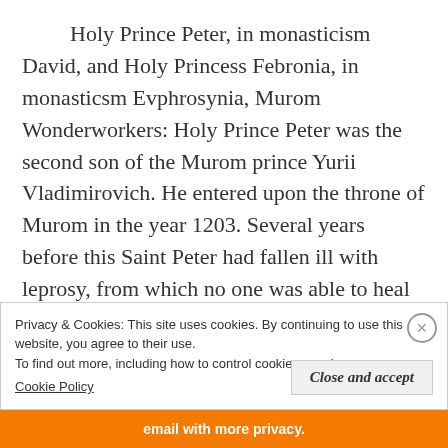Holy Prince Peter, in monasticism David, and Holy Princess Febronia, in monasticsm Evphrosynia, Murom Wonderworkers: Holy Prince Peter was the second son of the Murom prince Yurii Vladimirovich. He entered upon the throne of Murom in the year 1203. Several years before this Saint Peter had fallen ill with leprosy, from which no one was able to heal him. In a dream vision it was revealed to the prince, that the daughter of a bee-keeper would be able to heal him – the pious maiden Febronia, a peasant
Privacy & Cookies: This site uses cookies. By continuing to use this website, you agree to their use.
To find out more, including how to control cookies, see here: Cookie Policy
Close and accept
email with more privacy.